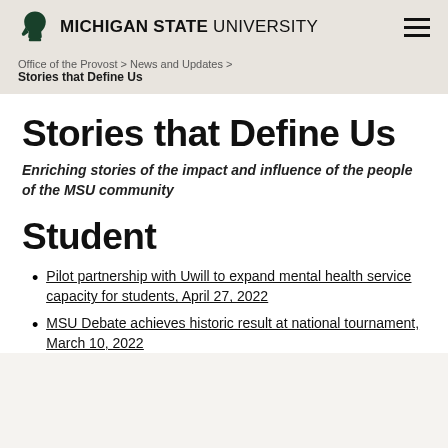MICHIGAN STATE UNIVERSITY
Office of the Provost > News and Updates >
Stories that Define Us
Stories that Define Us
Enriching stories of the impact and influence of the people of the MSU community
Student
Pilot partnership with Uwill to expand mental health service capacity for students, April 27, 2022
MSU Debate achieves historic result at national tournament, March 10, 2022